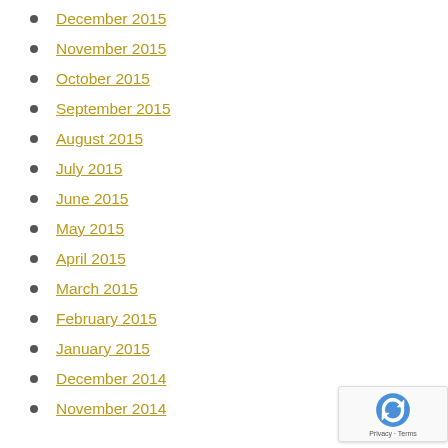December 2015
November 2015
October 2015
September 2015
August 2015
July 2015
June 2015
May 2015
April 2015
March 2015
February 2015
January 2015
December 2014
November 2014